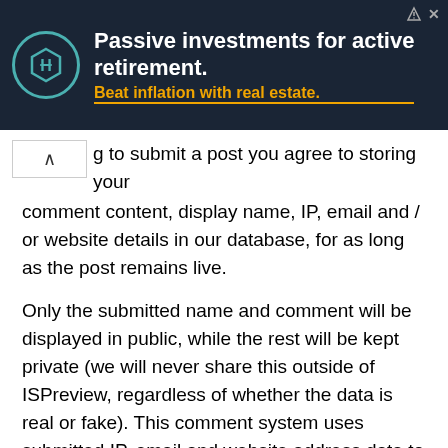[Figure (other): Advertisement banner: dark background with logo, headline 'Passive investments for active retirement.' and subtext 'Beat inflation with real estate.']
g to submit a post you agree to storing your comment content, display name, IP, email and / or website details in our database, for as long as the post remains live.
Only the submitted name and comment will be displayed in public, while the rest will be kept private (we will never share this outside of ISPreview, regardless of whether the data is real or fake). This comment system uses submitted IP, email and website address data to spot abuse and spammers. All data is transferred via an encrypted (https secure) session.
NOTE 1: Sometimes your comment might not appear